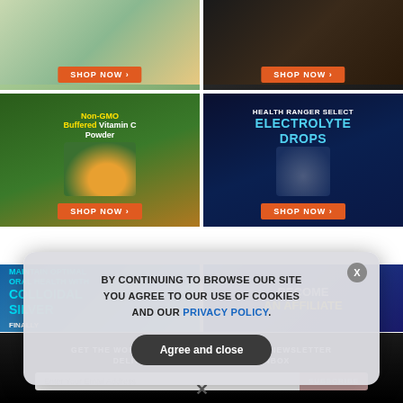[Figure (screenshot): Top-left product ad: partially visible, green/natural product with SHOP NOW button]
[Figure (screenshot): Top-right product ad: partially visible dark background product with SHOP NOW button]
[Figure (screenshot): Non-GMO Buffered Vitamin C Powder ad with oranges and product jar, green background, SHOP NOW button]
[Figure (screenshot): Health Ranger Select Electrolyte Drops ad, dark blue background, SHOP NOW button]
[Figure (screenshot): Colloidal Silver oral health ad, partially visible, blue background]
[Figure (screenshot): Become An Affiliate ad, partially visible]
GET THE WORLD'S BEST NATURAL HEALTH NEWSLETTER DELIVERED STRAIGHT TO YOUR INBOX
Enter Your Email Address
SUBSCRIBE
BY CONTINUING TO BROWSE OUR SITE YOU AGREE TO OUR USE OF COOKIES AND OUR PRIVACY POLICY.
Agree and close